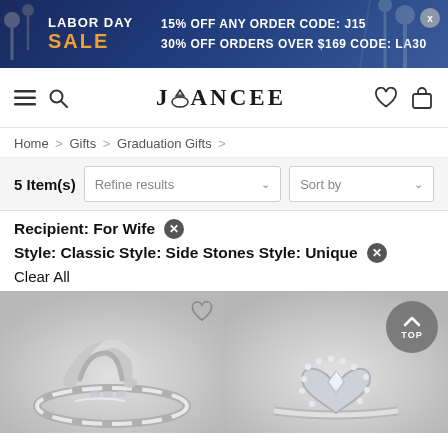[Figure (screenshot): Labor Day Sale banner with dark blue background, tools/nails decoration on right. Text: LABOR DAY SALE | 15% OFF ANY ORDER CODE: J15 | 30% OFF ORDERS OVER $169 CODE: LA30]
JOANCEE navigation bar with hamburger menu, search icon, logo with diamond ring icon, heart wishlist icon, and shopping bag icon
Home > Gifts > Graduation Gifts >
5 Item(s)   Refine results ∨   Sort by ∨
Recipient: For Wife ✕
Style: Classic Style: Side Stones Style: Unique ✕
Clear All
[Figure (photo): Two silver jewelry rings partially visible at bottom of page: left ring is a twisted/knot style silver ring; right ring is a heart-shaped silver ring with round diamond center stone and pavé halo setting]
Heart wishlist icon overlay on left product